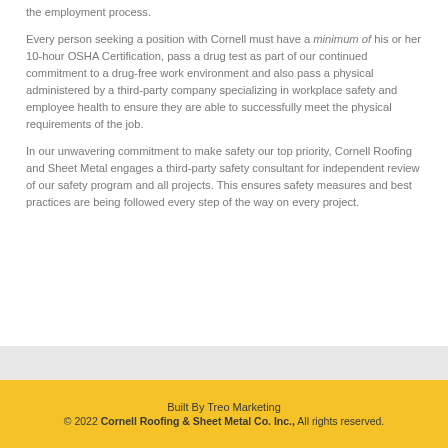the employment process.
Every person seeking a position with Cornell must have a minimum of his or her 10-hour OSHA Certification, pass a drug test as part of our continued commitment to a drug-free work environment and also pass a physical administered by a third-party company specializing in workplace safety and employee health to ensure they are able to successfully meet the physical requirements of the job.
In our unwavering commitment to make safety our top priority, Cornell Roofing and Sheet Metal engages a third-party safety consultant for independent review of our safety program and all projects. This ensures safety measures and best practices are being followed every step of the way on every project.
Built By Treo Marketing
© 2022 Cornell Roofing & Sheet Metal Co. Inc., All rights reserved.